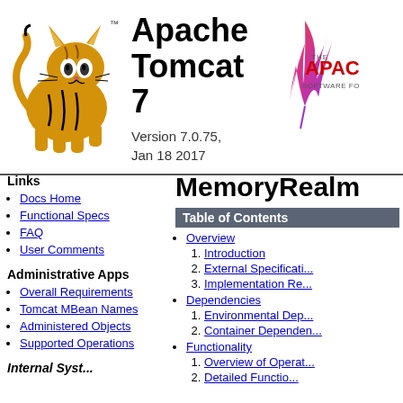[Figure (logo): Apache Tomcat cat mascot logo - orange/yellow striped cat in running pose]
Apache Tomcat 7
Version 7.0.75, Jan 18 2017
[Figure (logo): The Apache Software Foundation feather logo with red/orange gradient feather and text 'THE APACHE SOFTWARE FO...']
Links
Docs Home
Functional Specs
FAQ
User Comments
Administrative Apps
Overall Requirements
Tomcat MBean Names
Administered Objects
Supported Operations
MemoryRealm
Table of Contents
Overview
1. Introduction
2. External Specificati...
3. Implementation Re...
Dependencies
1. Environmental Dep...
2. Container Dependen...
Functionality
1. Overview of Operat...
2. Detailed Functio...